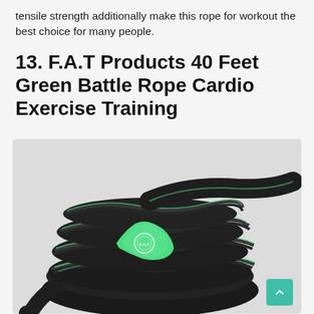tensile strength additionally make this rope for workout the best choice for many people.
13. F.A.T Products 40 Feet Green Battle Rope Cardio Exercise Training
[Figure (photo): A coiled black battle rope with green accents and a green handle/grip, with the F.A.T Products logo visible on the handle. A teal scroll-to-top button is visible in the bottom right corner.]